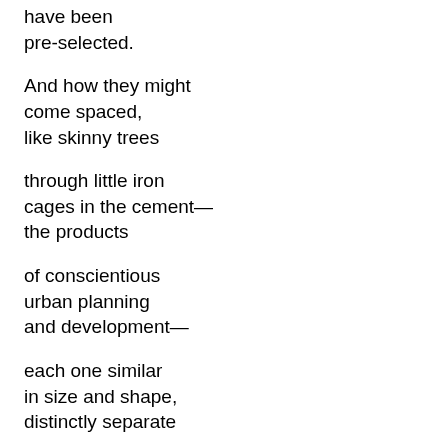have been
pre-selected.
And how they might
come spaced,
like skinny trees
through little iron
cages in the cement—
the products
of conscientious
urban planning
and development—
each one similar
in size and shape,
distinctly separate
but almost always
all considered
together